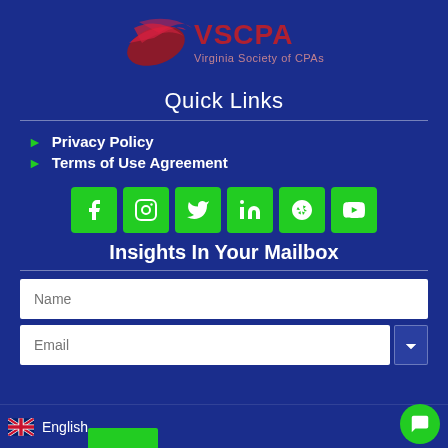[Figure (logo): VSCPA Virginia Society of CPAs logo with swirl graphic in red/maroon and text]
Quick Links
Privacy Policy
Terms of Use Agreement
[Figure (infographic): Row of six green social media icon buttons: Facebook, Instagram, Twitter, LinkedIn, Yelp, YouTube]
Insights In Your Mailbox
Name (form input field)
Email (form input field)
English (language selector with UK flag)